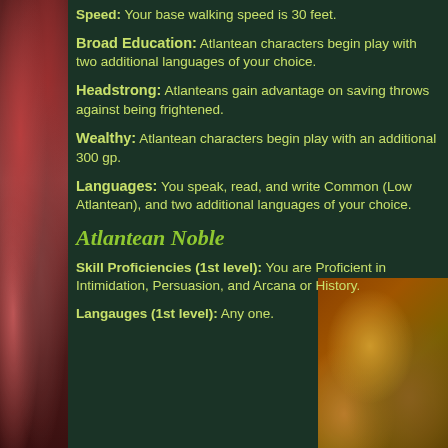Speed: Your base walking speed is 30 feet.
Broad Education: Atlantean characters begin play with two additional languages of your choice.
Headstrong: Atlanteans gain advantage on saving throws against being frightened.
Wealthy: Atlantean characters begin play with an additional 300 gp.
Languages: You speak, read, and write Common (Low Atlantean), and two additional languages of your choice.
Atlantean Noble
Skill Proficiencies (1st level): You are Proficient in Intimidation, Persuasion, and Arcana or History.
Langauges (1st level): Any one.